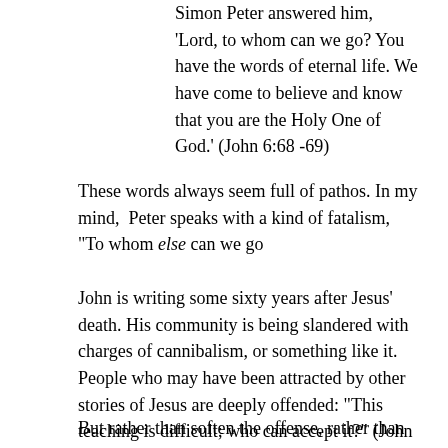Simon Peter answered him, 'Lord, to whom can we go? You have the words of eternal life. We have come to believe and know that you are the Holy One of God.' (John 6:68 -69)
These words always seem full of pathos. In my mind,  Peter speaks with a kind of fatalism, "To whom else can we go
John is writing some sixty years after Jesus' death. His community is being slandered with charges of cannibalism, or something like it. People who may have been attracted by other stories of Jesus are deeply offended: "This teaching is difficult; who can accept it?" (John 6:60)
But rather than soften the offense, rather than explain things reasonably, and in measured tones — writing  an orderly account for you, most excellent Theophilus,  so that you may know the